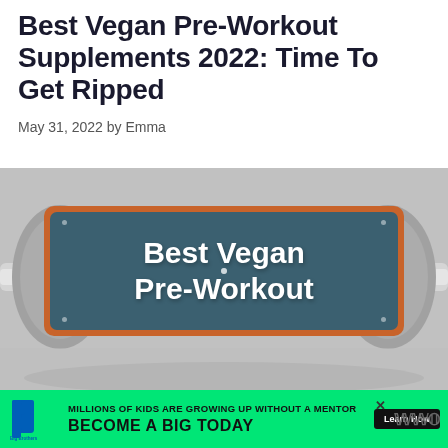Best Vegan Pre-Workout Supplements 2022: Time To Get Ripped
May 31, 2022 by Emma
[Figure (photo): A black-and-white photo of gym barbells/dumbbells with a teal and orange sign overlay reading 'Best Vegan Pre-Workout']
[Figure (infographic): Green advertisement banner: Big Brothers Big Sisters logo, text 'MILLIONS OF KIDS ARE GROWING UP WITHOUT A MENTOR', 'BECOME A BIG TODAY', and 'Learn How' button]